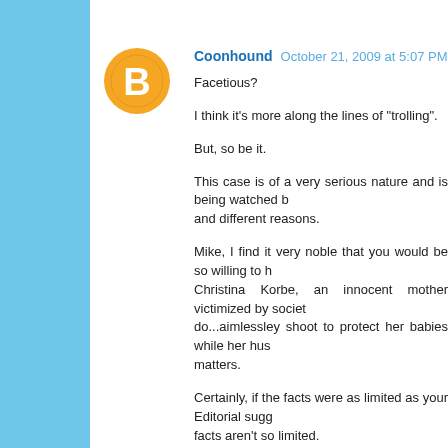[Figure (illustration): Orange circular Blogger avatar icon with white letter B]
Coonhound  October 21, 2009 at 5:07 PM
Facetious?

I think it's more along the lines of "trolling".

But, so be it.

This case is of a very serious nature and is being watched b... and different reasons.

Mike, I find it very noble that you would be so willing to h... Christina Korbe, an innocent mother victimized by societ... do...aimlessley shoot to protect her babies while her hus... matters.

Certainly, if the facts were as limited as your Editorial sugg... facts aren't so limited.

Crooks, thieves, drug pushers, gang bangers, and so on... reasons to make laws stiffer concerning gun ownership. But... find a way around such laws.

So, we are then left with the PENALTIES concerning the illeg...

And perhaps the laws AND penalties should be stiffer.